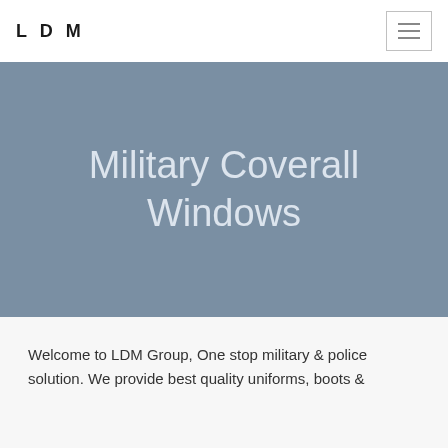LDM
Military Coverall Windows
Welcome to LDM Group, One stop military & police solution. We provide best quality uniforms, boots &